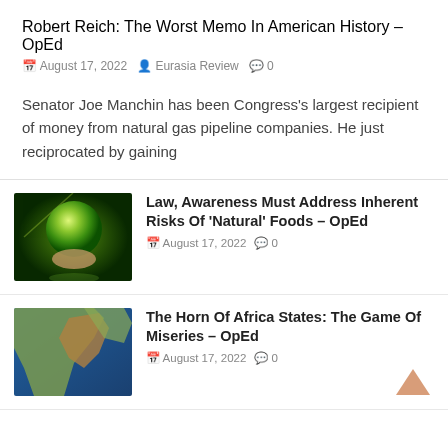Robert Reich: The Worst Memo In American History – OpEd
August 17, 2022  Eurasia Review  0
Senator Joe Manchin has been Congress's largest recipient of money from natural gas pipeline companies. He just reciprocated by gaining
[Figure (photo): Hand holding a glowing green Earth globe against a green radial background]
Law, Awareness Must Address Inherent Risks Of 'Natural' Foods – OpEd
August 17, 2022  0
[Figure (photo): Satellite view of the Horn of Africa showing coastline and land masses]
The Horn Of Africa States: The Game Of Miseries – OpEd
August 17, 2022  0